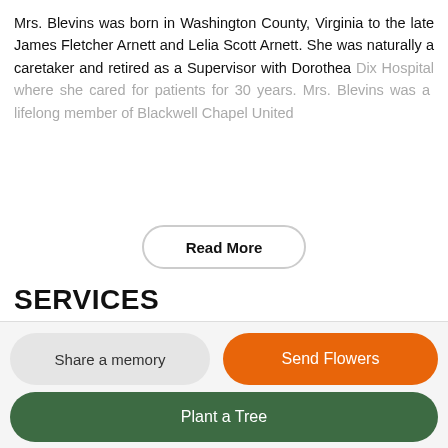Mrs. Blevins was born in Washington County, Virginia to the late James Fletcher Arnett and Lelia Scott Arnett. She was naturally a caretaker and retired as a Supervisor with Dorothea Dix Hospital where she cared for patients for 30 years. Mrs. Blevins was a lifelong member of Blackwell Chapel United
Read More
SERVICES
VISITATION
Sunday
June 19, 2022
4:00 PM to 6:00 PM
Directions
Text Details
Share a memory
Send Flowers
Plant a Tree